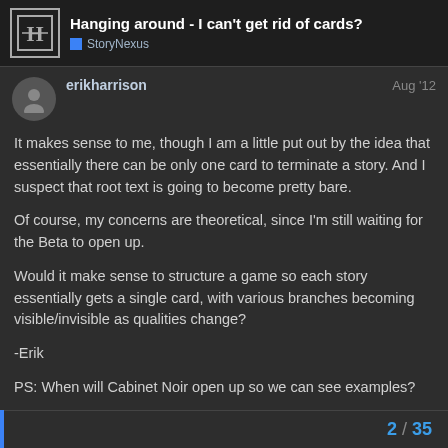Hanging around - I can't get rid of cards?
StoryNexus
erikharrison
Aug '12
It makes sense to me, though I am a little put out by the idea that essentially there can be only one card to terminate a story. And I suspect that root text is going to become pretty bare.
Of course, my concerns are theoretical, since I'm still waiting for the Beta to open up.
Would it make sense to structure a game so each story essentially gets a single card, with various branches becoming visible/invisible as qualities change?
-Erik
PS: When will Cabinet Noir open up so we can see examples?
2 / 35